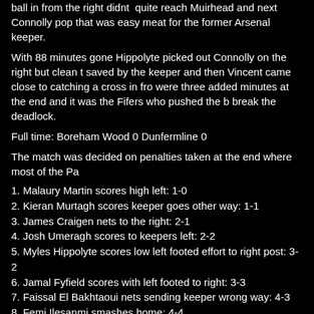ball in from the right didnt quite reach Muirhead and next Connolly pop that was easy meat for the former Arsenal keeper.
With 88 minutes gone Hippolyte picked out Connolly on the right but clean t saved by the keeper and then Vincent came close to catching a cross in fro were three added minutes at the end and it was the Fifers who pushed the b break the deadlock.
Full time: Boreham Wood 0 Dunfermline 0
The match was decided on penalties taken at the end where most of the Pa
1. Malaury Martin scores high left: 1-0
2. Kieran Murtagh scores keeper goes other way: 1-1
3. James Craigen nets to the right: 2-1
4. Josh Umeragh scores to keepers left: 2-2
5. Myles Hippolyte scores low left footed effort to right post: 3-2
6. Jamal Fyfield scores with left footed to right: 3-3
7. Faissal El Bakhtaoui nets sending keeper wrong way: 4-3
8. Femi Ilesanmi smashes home: 4-4
9. Aidan Connolly left footed nets: 5-4
10. Recto Hackett-Fairchild low to left: 5-5
11.Robbie Muirhead left footed drive low left: 6-5
12. Connor Smith hits crossbar and ball rebounds out: 6-5